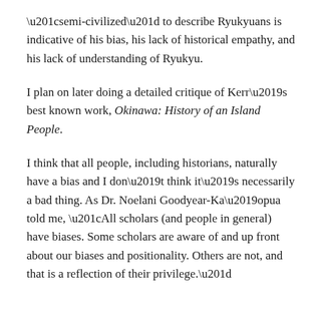“semi-civilized” to describe Ryukyuans is indicative of his bias, his lack of historical empathy, and his lack of understanding of Ryukyu.
I plan on later doing a detailed critique of Kerr’s best known work, Okinawa: History of an Island People.
I think that all people, including historians, naturally have a bias and I don’t think it’s necessarily a bad thing. As Dr. Noelani Goodyear-Ka’opua told me, “All scholars (and people in general) have biases. Some scholars are aware of and up front about our biases and positionality. Others are not, and that is a reflection of their privilege.”